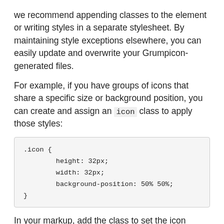we recommend appending classes to the element or writing styles in a separate stylesheet. By maintaining style exceptions elsewhere, you can easily update and overwrite your Grumpicon-generated files.
For example, if you have groups of icons that share a specific size or background position, you can create and assign an icon class to apply those styles:
[Figure (screenshot): CSS code block showing .icon { height: 32px; width: 32px; background-position: 50% 50%; }]
In your markup, add the class to set the icon dimensions and a second to set the icon